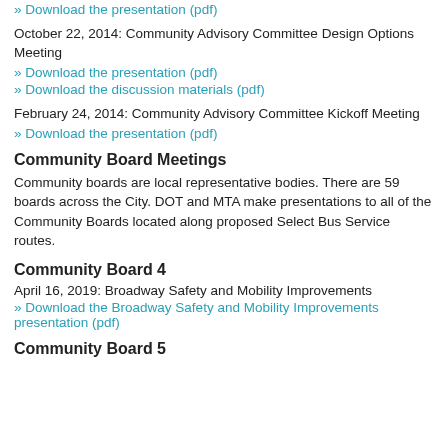» Download the presentation (pdf)
October 22, 2014: Community Advisory Committee Design Options Meeting
» Download the presentation (pdf)
» Download the discussion materials (pdf)
February 24, 2014: Community Advisory Committee Kickoff Meeting
» Download the presentation (pdf)
Community Board Meetings
Community boards are local representative bodies. There are 59 boards across the City. DOT and MTA make presentations to all of the Community Boards located along proposed Select Bus Service routes.
Community Board 4
April 16, 2019: Broadway Safety and Mobility Improvements
» Download the Broadway Safety and Mobility Improvements presentation (pdf)
Community Board 5